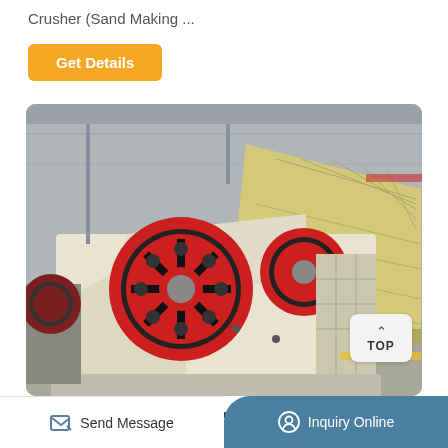Crusher (Sand Making ...
Get Details
[Figure (photo): Industrial jaw crusher and impact crusher machines photographed in a factory/warehouse setting. The jaw crusher in the foreground is cream/white colored with a large red flywheel. Behind it is a large yellow/cream impact crusher. The facility has a high industrial roof structure.]
300TPH Granite Crushing Plant ...
Send Message   Inquiry Online